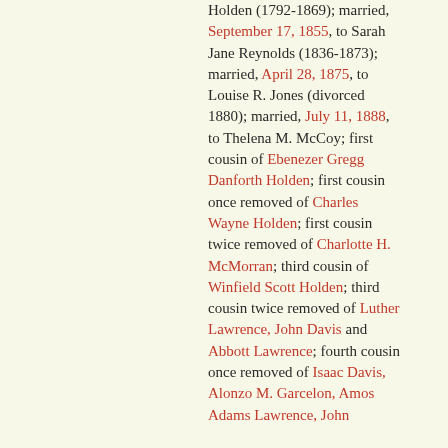Holden (1792-1869); married, September 17, 1855, to Sarah Jane Reynolds (1836-1873); married, April 28, 1875, to Louise R. Jones (divorced 1880); married, July 11, 1888, to Thelena M. McCoy; first cousin of Ebenezer Gregg Danforth Holden; first cousin once removed of Charles Wayne Holden; first cousin twice removed of Charlotte H. McMorran; third cousin of Winfield Scott Holden; third cousin twice removed of Luther Lawrence, John Davis and Abbott Lawrence; fourth cousin once removed of Isaac Davis, Alonzo M. Garcelon, Amos Adams Lawrence, John